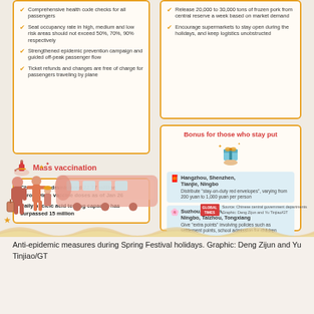[Figure (infographic): Anti-epidemic measures infographic during Spring Festival holidays, showing travel restrictions, food supply measures, mass vaccination stats, and bonuses for those who stay put during holidays. Includes illustrations of people at train station, gift boxes, and decorative elements. Source: Global Times / Chinese central government departments.]
Anti-epidemic measures during Spring Festival holidays. Graphic: Deng Zijun and Yu Tinjiao/GT